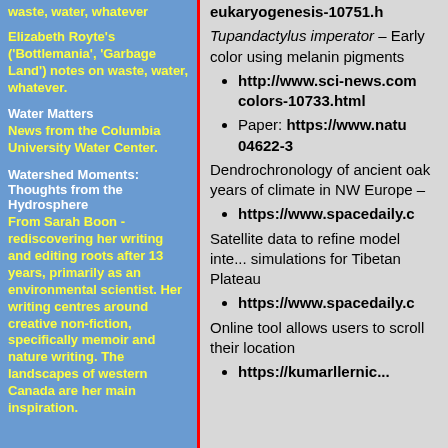waste, water, whatever Elizabeth Royte's ('Bottlemania', 'Garbage Land') notes on waste, water, whatever.
Water Matters
News from the Columbia University Water Center.
Watershed Moments: Thoughts from the Hydrosphere
From Sarah Boon - rediscovering her writing and editing roots after 13 years, primarily as an environmental scientist. Her writing centres around creative non-fiction, specifically memoir and nature writing. The landscapes of western Canada are her main inspiration.
eukaryogenesis-10751.h...
Tupandactylus imperator – Early color using melanin pigments
http://www.sci-news.com colors-10733.html
Paper: https://www.natu... 04622-3
Dendrochronology of ancient oak years of climate in NW Europe –
https://www.spacedaily.c...
Satellite data to refine model inte... simulations for Tibetan Plateau
https://www.spacedaily.c...
Online tool allows users to scroll their location
https://kumarllernic...